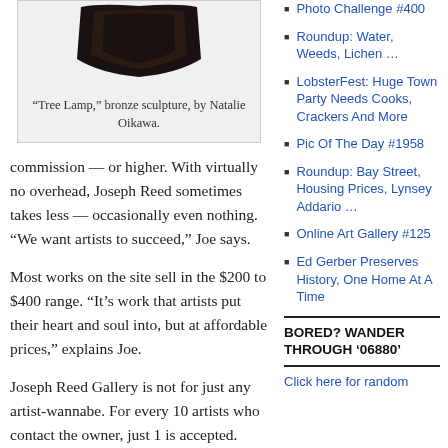[Figure (photo): Bronze sculpture 'Tree Lamp' by Natalie Oikawa, dark object on white background]
“Tree Lamp,” bronze sculpture, by Natalie Oikawa.
commission — or higher. With virtually no overhead, Joseph Reed sometimes takes less — occasionally even nothing. “We want artists to succeed,” Joe says.
Most works on the site sell in the $200 to $400 range. “It’s work that artists put their heart and soul into, but at affordable prices,” explains Joe.
Joseph Reed Gallery is not for just any artist-wannabe. For every 10 artists who contact the owner, just 1 is accepted.
Photo Challenge #400
Roundup: Water, Weeds, Lichen …
LobsterFest: Huge Town Party Needs Cooks, Crackers And More
Pic Of The Day #1958
Roundup: Bay Street, Housing Prices, Lynsey Addario …
Online Art Gallery #125
Ed Gerber Preserves History, One Home At A Time
BORED? WANDER THROUGH ’06880’
Click here for random